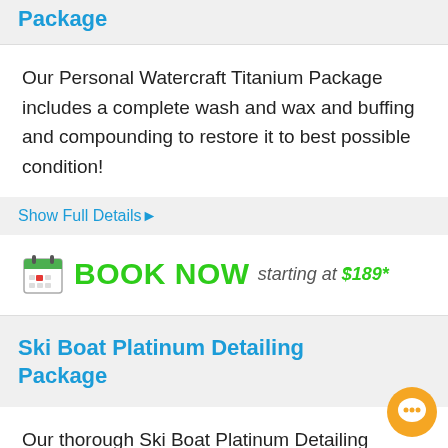Package
Our Personal Watercraft Titanium Package includes a complete wash and wax and buffing and compounding to restore it to best possible condition!
Show Full Details ▶
BOOK NOW starting at $189*
Ski Boat Platinum Detailing Package
Our thorough Ski Boat Platinum Detailing